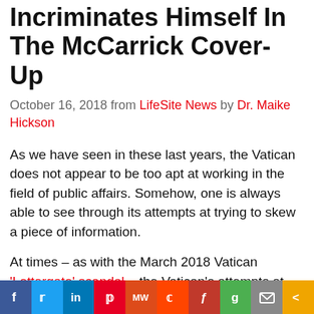Incriminates Himself In The McCarrick Cover-Up
October 16, 2018 from LifeSite News by Dr. Maike Hickson
As we have seen in these last years, the Vatican does not appear to be too apt at working in the field of public affairs. Somehow, one is always able to see through its attempts at trying to skew a piece of information.
At times – as with the March 2018 Vatican 'Lettergate' scandal – the Vatican's attempts at manipulating a story are just too obvious. The Vatican was caught manipulating a
[Figure (infographic): Social media share bar with icons: Facebook (blue), Twitter (light blue), LinkedIn (dark blue), Pinterest (red), MW (orange-red), Reddit (orange), Flipboard (red), Goodreads (green), Email (grey), Share (gold)]